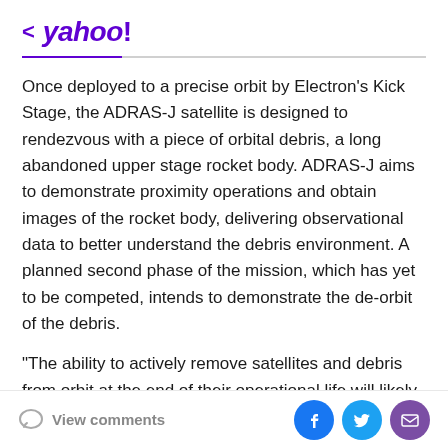< yahoo!
Once deployed to a precise orbit by Electron's Kick Stage, the ADRAS-J satellite is designed to rendezvous with a piece of orbital debris, a long abandoned upper stage rocket body. ADRAS-J aims to demonstrate proximity operations and obtain images of the rocket body, delivering observational data to better understand the debris environment. A planned second phase of the mission, which has yet to be competed, intends to demonstrate the de-orbit of the debris.
"The ability to actively remove satellites and debris from orbit at the end of their operational life will likely play a
View comments